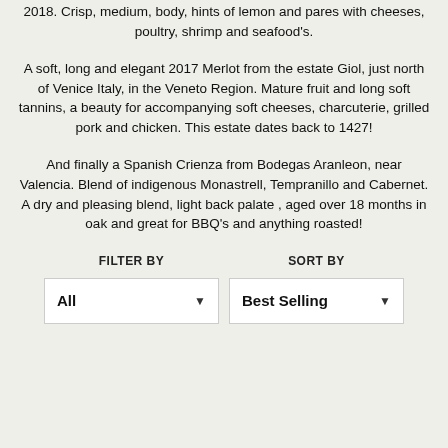2018. Crisp, medium, body, hints of lemon and pares with cheeses, poultry, shrimp and seafood's.
A soft, long and elegant 2017 Merlot from the estate Giol, just north of Venice Italy, in the Veneto Region. Mature fruit and long soft tannins, a beauty for accompanying soft cheeses, charcuterie, grilled pork and chicken. This estate dates back to 1427!
And finally a Spanish Crienza from Bodegas Aranleon, near Valencia. Blend of indigenous Monastrell, Tempranillo and Cabernet. A dry and pleasing blend, light back palate , aged over 18 months in oak and great for BBQ's and anything roasted!
FILTER BY
SORT BY
All
Best Selling